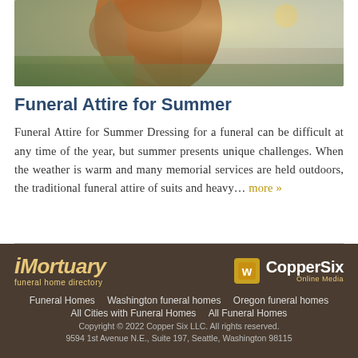[Figure (photo): Photo of a woman with long auburn/red hair seen from behind, with natural outdoor lighting and greenery in the background]
Funeral Attire for Summer
Funeral Attire for Summer Dressing for a funeral can be difficult at any time of the year, but summer presents unique challenges. When the weather is warm and many memorial services are held outdoors, the traditional funeral attire of suits and heavy… more »
[Figure (logo): iMortuary funeral home directory logo and CopperSix Online Media logo side by side in the footer]
Funeral Homes   Washington funeral homes   Oregon funeral homes   All Cities with Funeral Homes   All Funeral Homes   Copyright © 2022 Copper Six LLC. All rights reserved.   9594 1st Avenue N.E., Suite 197, Seattle, Washington 98115